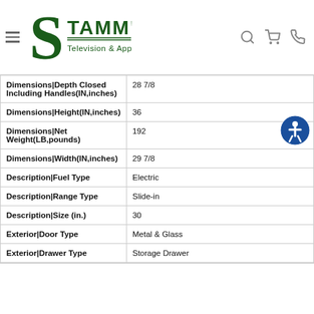Stamm's Television & Appliances
| Specification | Value |
| --- | --- |
| Dimensions|Depth Closed Including Handles(IN,inches) | 28 7/8 |
| Dimensions|Height(IN,inches) | 36 |
| Dimensions|Net Weight(LB,pounds) | 192 |
| Dimensions|Width(IN,inches) | 29 7/8 |
| Description|Fuel Type | Electric |
| Description|Range Type | Slide-in |
| Description|Size (in.) | 30 |
| Exterior|Door Type | Metal & Glass |
| Exterior|Drawer Type | Storage Drawer |